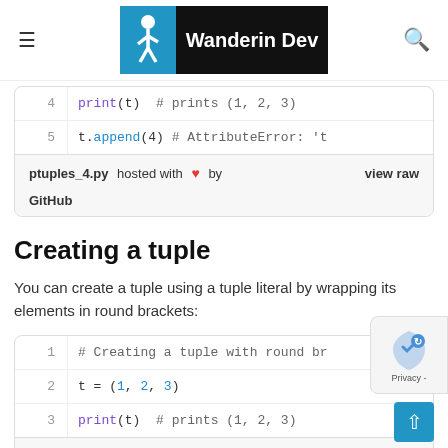Wander in Dev
[Figure (screenshot): Code snippet showing lines 4 and 5: print(t) and t.append(4) with AttributeError comment, hosted on GitHub as ptuples_4.py]
Creating a tuple
You can create a tuple using a tuple literal by wrapping its elements in round brackets:
[Figure (screenshot): Code snippet showing lines 1-3: comment about creating a tuple with round brackets, t = (1, 2, 3), print(t) # prints (1, 2, 3), hosted on GitHub as ptuples_5.py]